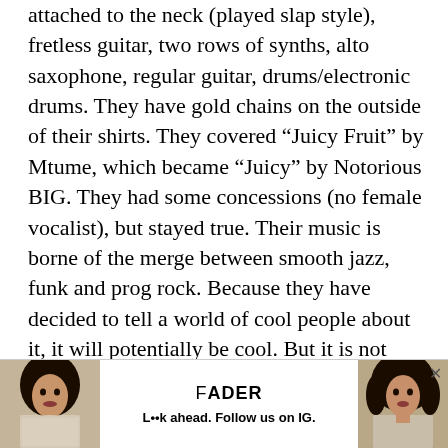attached to the neck (played slap style), fretless guitar, two rows of synths, alto saxophone, regular guitar, drums/electronic drums. They have gold chains on the outside of their shirts. They covered “Juicy Fruit” by Mtume, which became “Juicy” by Notorious BIG. They had some concessions (no female vocalist), but stayed true. Their music is borne of the merge between smooth jazz, funk and prog rock. Because they have decided to tell a world of cool people about it, it will potentially be cool. But it is not cool. I saw many people wildly excited, just as many confounded. Though Brown never went this route, much of jazz in the ‘80s, blending new electric technologies and their soft edged mentalities with the undullable bleat of the horn. And so, when the soundman finally turned up that
[Figure (other): FADER advertisement banner at the bottom of the page showing two photos of a woman with curly hair, FADER logo, and text 'L..k ahead. Follow us on IG.' with a close X button]